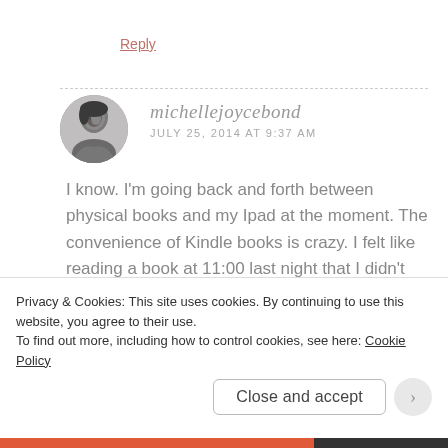Reply
[Figure (photo): Circular avatar photo of a person in black and white]
michellejoycebond
JULY 25, 2014 AT 9:37 AM
I know. I'm going back and forth between physical books and my Ipad at the moment. The convenience of Kindle books is crazy. I felt like reading a book at 11:00 last night that I didn't have, so I went online and–boom–
Privacy & Cookies: This site uses cookies. By continuing to use this website, you agree to their use.
To find out more, including how to control cookies, see here: Cookie Policy
Close and accept